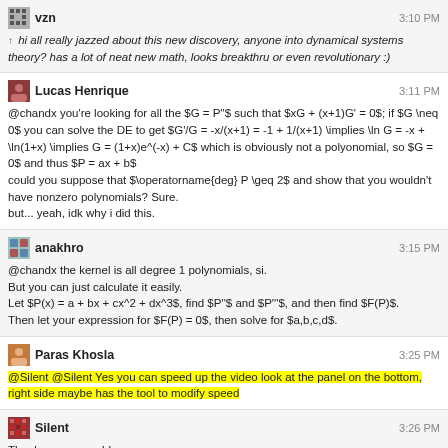vzn 3:10 PM ↑ hi all really jazzed about this new discovery, anyone into dynamical systems theory? has a lot of neat new math, looks breakthru or even revolutionary :)
Lucas Henrique 3:11 PM @chandx you're looking for all the $G = P''$ such that $xG + (x+1)G' = 0$; if $G \neq 0$ you can solve the DE to get $G'/G = -x/(x+1) = -1 + 1/(x+1) \implies \ln G = -x + \ln(1+x) \implies G = (1+x)e^(-x) + C$ which is obviously not a polyonomial, so $G = 0$ and thus $P = ax + b$ could you suppose that $\operatorname{deg} P \geq 2$ and show that you wouldn't have nonzero polynomials? Sure. but... yeah, idk why i did this.
anakhro 3:15 PM @chandx the kernel is all degree 1 polynomials, si. But you can just calculate it easily. Let $P(x) = a + bx + cx^2 + dx^3$, find $P''$ and $P'''$, and then find $F(P)$. Then let your expression for $F(P) = 0$, then solve for $a,b,c,d$.
Paras Khosla 3:25 PM @Silent @Silent Yes you can speed up the video look at the panel on the bottom, right side maybe has the tool to modify speed
Silent 3:26 PM Thank you so much!
2 hours later...
Rick 5:05 PM